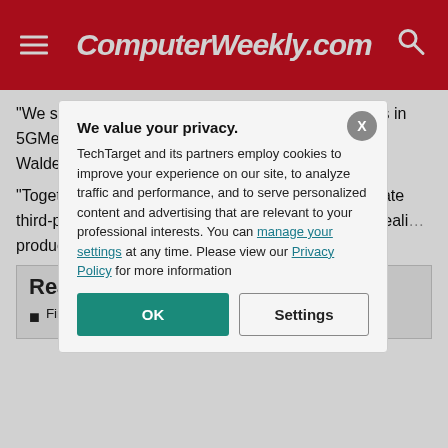ComputerWeekly.com
“We see great potential in collaborating with partners in 5GMediaHUB for the next three years,” said Patrick Waldemar, vice-president of Telenor Research.
“Together, we can explore how to more easily integrate third-party applic… whether 5G med… augmented reali… production and d… we’re excited to …
Read …
Finnish c… project le… flagship 6… next gene…
We value your privacy.
TechTarget and its partners employ cookies to improve your experience on our site, to analyze traffic and performance, and to serve personalized content and advertising that are relevant to your professional interests. You can manage your settings at any time. Please view our Privacy Policy for more information